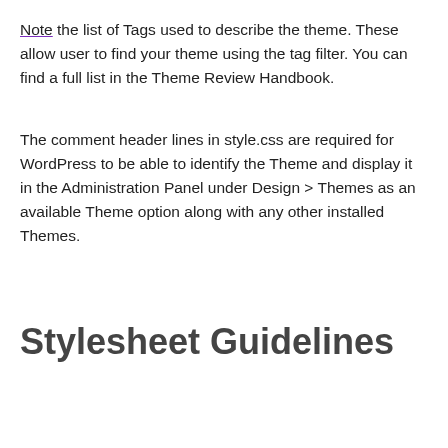Note the list of Tags used to describe the theme. These allow user to find your theme using the tag filter. You can find a full list in the Theme Review Handbook.
The comment header lines in style.css are required for WordPress to be able to identify the Theme and display it in the Administration Panel under Design > Themes as an available Theme option along with any other installed Themes.
Stylesheet Guidelines